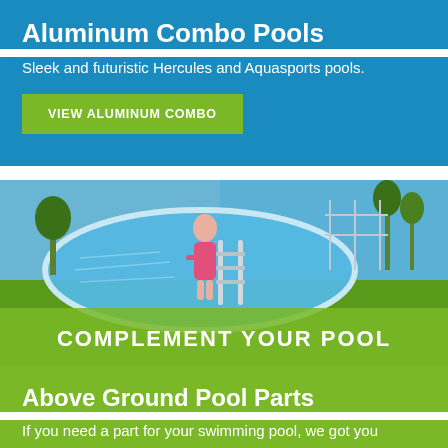Aluminum Combo Pools
Sleek and futuristic Hercules and Aquasports pools.
VIEW ALUMINUM COMBO
[Figure (photo): A girl in a pink swimsuit climbing a pool ladder into an above-ground swimming pool, with green grass and a scenic waterfront in the background. Text overlay reads COMPLEMENT YOUR POOL.]
Above Ground Pool Parts
If you need a part for your swimming pool, we got you covered.